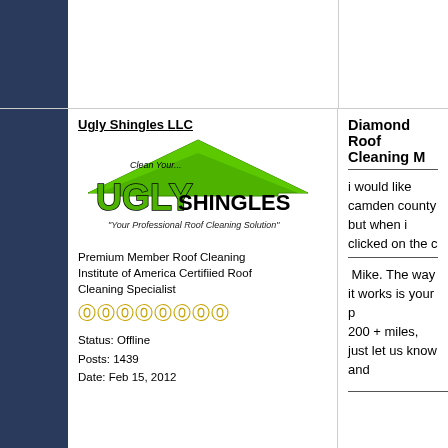Ugly Shingles LLC
[Figure (logo): Ugly Shingles LLC logo with green roof outline and text 'UGLY SHINGLES' and tagline 'Your Professional Roof Cleaning Solution']
Premium Member Roof Cleaning Institute of America Certifiied Roof Cleaning Specialist
Status: Offline
Posts: 1439
Date: Feb 15, 2012
Diamond Roof Cleaning M
i would like camden county but when i clicked on the c
Mike. The way it works is your p 200 + miles, just let us know and